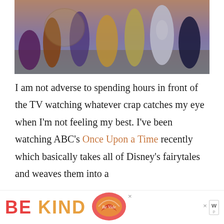[Figure (photo): Promotional cast photo for ABC's Once Upon a Time TV show, showing multiple costumed characters posed together against a sunset/dusk background]
I am not adverse to spending hours in front of the TV watching whatever crap catches my eye when I'm not feeling my best. I've been watching ABC's Once Upon a Time recently which basically takes all of Disney's fairytales and weaves them into a
[Figure (infographic): Advertisement banner at bottom of page showing 'BE KIND' text in red/orange with a decorative floral swirl logo and a close button with wp logo watermark]